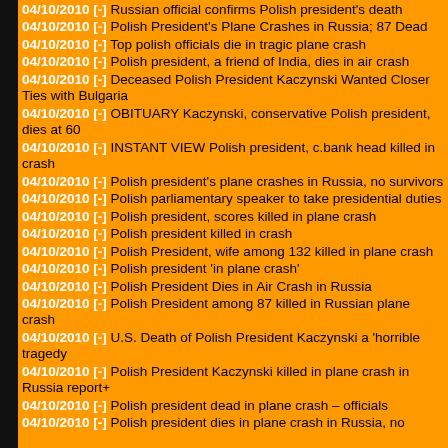04/10/2010 [-] Russian official confirms Polish president's death
04/10/2010 [-] Polish President's Plane Crashes in Russia; 87 Dead
04/10/2010 [-] Top polish officials die in tragic plane crash
04/10/2010 [-] Polish president, a friend of India, dies in air crash
04/10/2010 [-] Deceased Polish President Kaczynski Wanted Closer Ties with Bulgaria
04/10/2010 [-] OBITUARY Kaczynski, conservative Polish president, dies at 60
04/10/2010 [-] INSTANT VIEW Polish president, c.bank head killed in crash
04/10/2010 [-] Polish president's plane crashes in Russia, no survivors
04/10/2010 [-] Polish parliamentary speaker to take presidential duties
04/10/2010 [-] Polish president, scores killed in plane crash
04/10/2010 [-] Polish president killed in crash
04/10/2010 [-] Polish President, wife among 132 killed in plane crash
04/10/2010 [-] Polish president 'in plane crash'
04/10/2010 [-] Polish President Dies in Air Crash in Russia
04/10/2010 [-] Polish President among 87 killed in Russian plane crash
04/10/2010 [-] U.S. Death of Polish President Kaczynski a 'horrible tragedy
04/10/2010 [-] Polish President Kaczynski killed in plane crash in Russia report+
04/10/2010 [-] Polish president dead in plane crash &ndash; officials
04/10/2010 [-] Polish president dies in plane crash in Russia, no